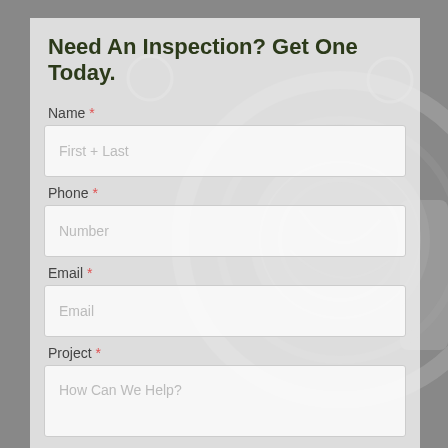Need An Inspection? Get One Today.
Name *
First + Last
Phone *
Number
Email *
Email
Project *
How Can We Help?
Get My Inspe...
📞 203-633-7746